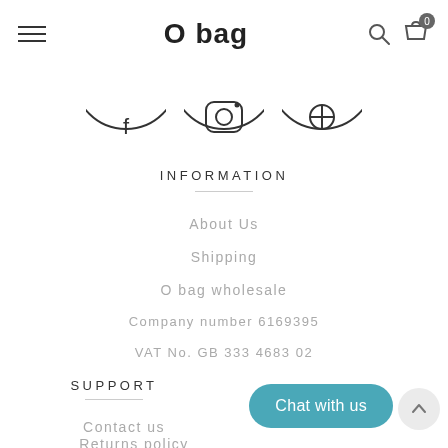O bag
[Figure (illustration): Three social media icon circles (Facebook, Instagram, Pinterest) with bottom arcs visible]
INFORMATION
About Us
Shipping
O bag wholesale
Company number 6169395
VAT No. GB 333 4683 02
SUPPORT
Contact us
Returns policy
Chat with us